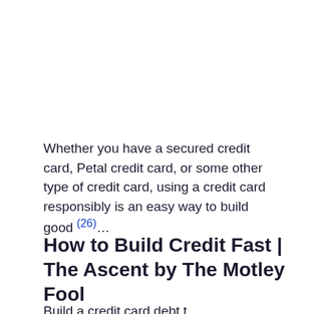Whether you have a secured credit card, Petal credit card, or some other type of credit card, using a credit card responsibly is an easy way to build good (26)...
How to Build Credit Fast | The Ascent by The Motley Fool
Build a credit card debt to...